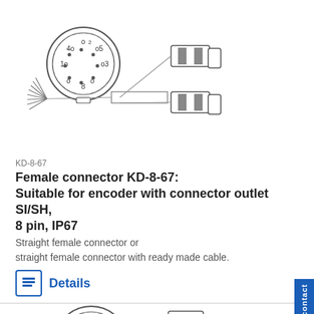[Figure (engineering-diagram): Connector diagram showing 8-pin circular connector face with pin numbering (1-8, with 4o, o2, o5, 1o, o3, o, 8, o labels) and two straight female connectors side by side]
KD-8-67
Female connector KD-8-67:
Suitable for encoder with connector outlet SI/SH, 8 pin, IP67
Straight female connector or straight female connector with ready made cable.
Details
[Figure (engineering-diagram): Partial connector diagram at bottom of page showing 8-pin circular connector face and angled connector]